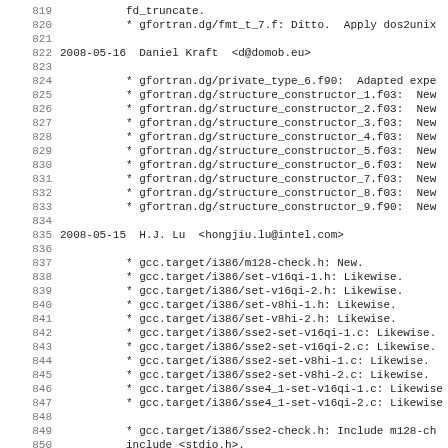Source code changelog/diff log lines 819-850, showing commit entries for GCC/gfortran project
819: fd_truncate.
820: * gfortran.dg/fmt_t_7.f: Ditto. Apply dos2unix
821: (blank)
822: 2008-05-16  Daniel Kraft  <d@domob.eu>
823: (blank)
824: * gfortran.dg/private_type_6.f90: Adapted expe
825: * gfortran.dg/structure_constructor_1.f03: New
826: * gfortran.dg/structure_constructor_2.f03: New
827: * gfortran.dg/structure_constructor_3.f03: New
828: * gfortran.dg/structure_constructor_4.f03: New
829: * gfortran.dg/structure_constructor_5.f03: New
830: * gfortran.dg/structure_constructor_6.f03: New
831: * gfortran.dg/structure_constructor_7.f03: New
832: * gfortran.dg/structure_constructor_8.f03: New
833: * gfortran.dg/structure_constructor_9.f90: New
834: (blank)
835: 2008-05-15  H.J. Lu  <hongjiu.lu@intel.com>
836: (blank)
837: * gcc.target/i386/m128-check.h: New.
838: * gcc.target/i386/set-v16qi-1.h: Likewise.
839: * gcc.target/i386/set-v16qi-2.h: Likewise.
840: * gcc.target/i386/set-v8hi-1.h: Likewise.
841: * gcc.target/i386/set-v8hi-2.h: Likewise.
842: * gcc.target/i386/sse2-set-v16qi-1.c: Likewise.
843: * gcc.target/i386/sse2-set-v16qi-2.c: Likewise.
844: * gcc.target/i386/sse2-set-v8hi-1.c: Likewise.
845: * gcc.target/i386/sse2-set-v8hi-2.c: Likewise.
846: * gcc.target/i386/sse4_1-set-v16qi-1.c: Likewise
847: * gcc.target/i386/sse4_1-set-v16qi-2.c: Likewise
848: (blank)
849: * gcc.target/i386/sse2-check.h: Include m128-ch
850: include <stdio.h>.